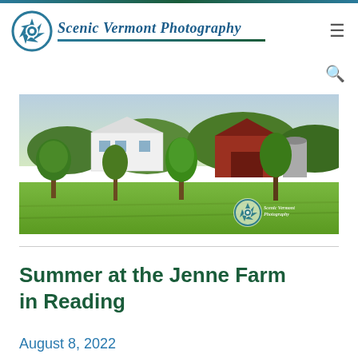Scenic Vermont Photography
[Figure (photo): Panoramic landscape photo of a Vermont farm in summer, showing green fields, trees, white farmhouse buildings and a red barn in the background, with a Scenic Vermont Photography watermark logo in the lower right corner.]
Summer at the Jenne Farm in Reading
August 8, 2022